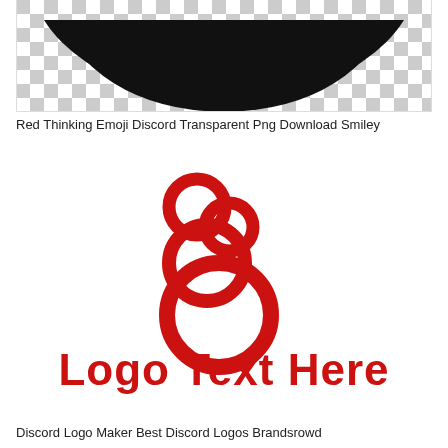[Figure (illustration): Top portion of a black smiley/emoji face on a checkered transparent background, only the bottom half of the face visible showing a wide black smile/mouth shape against a gray and white checkerboard pattern.]
Red Thinking Emoji Discord Transparent Png Download Smiley
[Figure (logo): A red logo consisting of three interlocking circular rings arranged vertically (two smaller rings at top, one larger ring at bottom), with bold red text below reading 'Logo Text Here' in a rounded sans-serif font.]
Discord Logo Maker Best Discord Logos Brandsrowd